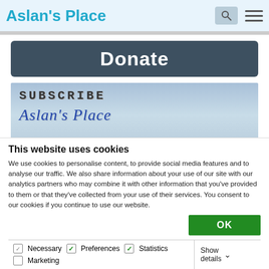Aslan's Place
[Figure (illustration): Dark grey rounded rectangle donate button with white bold text 'Donate']
[Figure (illustration): Subscribe banner image with sky background showing 'SUBSCRIBE' in dot-matrix style font and 'Aslan's Place' in blue cursive script below]
This website uses cookies
We use cookies to personalise content, to provide social media features and to analyse our traffic. We also share information about your use of our site with our analytics partners who may combine it with other information that you've provided to them or that they've collected from your use of their services. You consent to our cookies if you continue to use our website.